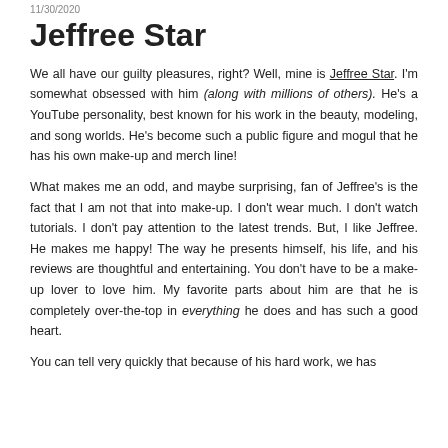11/30/2020
Jeffree Star
We all have our guilty pleasures, right? Well, mine is Jeffree Star. I'm somewhat obsessed with him (along with millions of others). He's a YouTube personality, best known for his work in the beauty, modeling, and song worlds. He's become such a public figure and mogul that he has his own make-up and merch line!
What makes me an odd, and maybe surprising, fan of Jeffree's is the fact that I am not that into make-up. I don't wear much. I don't watch tutorials. I don't pay attention to the latest trends. But, I like Jeffree. He makes me happy! The way he presents himself, his life, and his reviews are thoughtful and entertaining. You don't have to be a make-up lover to love him. My favorite parts about him are that he is completely over-the-top in everything he does and has such a good heart.
You can tell very quickly that because of his hard work, we has